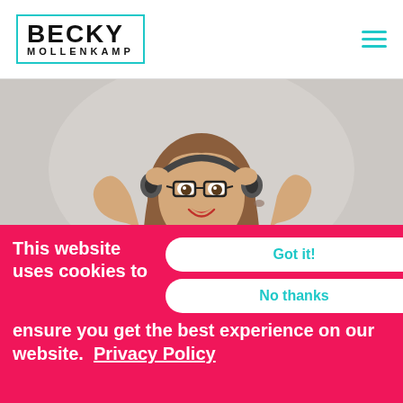[Figure (logo): Becky Mollenkamp logo with teal border]
[Figure (photo): Woman with long brown hair, glasses, and red headphones wearing an orange floral top, smiling against a light gray background]
This website uses cookies to ensure you get the best experience on our website.  Privacy Policy